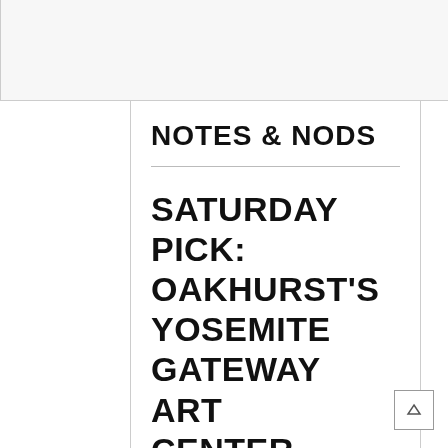NOTES & NODS
SATURDAY PICK: OAKHURST'S YOSEMITE GATEWAY ART CENTER OPENS NEW CONTEMPORARY ART QUILTS EXHIBIT